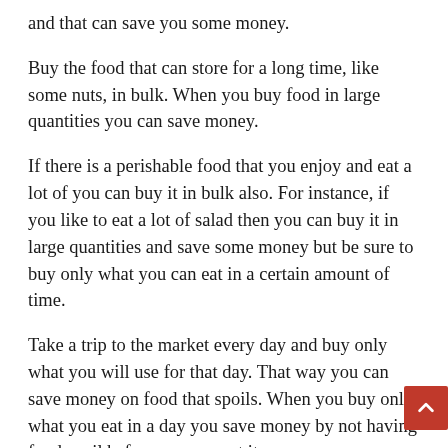and that can save you some money.
Buy the food that can store for a long time, like some nuts, in bulk. When you buy food in large quantities you can save money.
If there is a perishable food that you enjoy and eat a lot of you can buy it in bulk also. For instance, if you like to eat a lot of salad then you can buy it in large quantities and save some money but be sure to buy only what you can eat in a certain amount of time.
Take a trip to the market every day and buy only what you will use for that day. That way you can save money on food that spoils. When you buy only what you eat in a day you save money by not having food spoil before you can eat it.
Save money by eating at home and not going out to restaurants. Eating at home is less expensive than